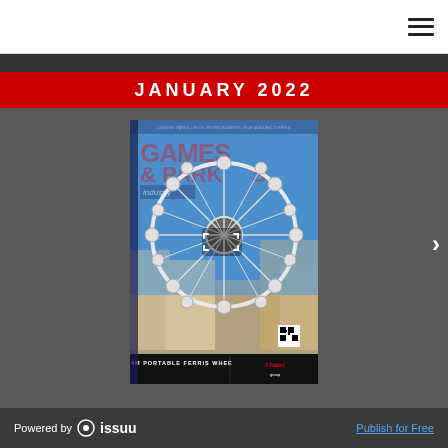JANUARY 2022
[Figure (screenshot): Magazine cover for 'Games & Parks Industry', January 2022 issue. Shows a large white Ferris wheel (34M Portable Ferris Wheel by Fabbri Group) against a blue sky in what appears to be an Italian coastal city. The cover has a dark bottom banner reading '34M PORTABLE FERRIS WHEEL | Fabbri group'. A fullscreen expand icon overlay is visible at center.]
Powered by issuu    Publish for Free